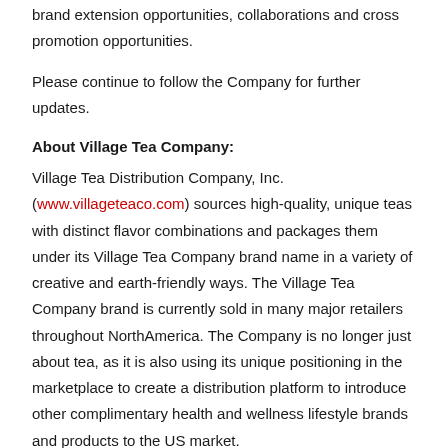brand extension opportunities, collaborations and cross promotion opportunities.
Please continue to follow the Company for further updates.
About Village Tea Company:
Village Tea Distribution Company, Inc. (www.villageteaco.com) sources high-quality, unique teas with distinct flavor combinations and packages them under its Village Tea Company brand name in a variety of creative and earth-friendly ways. The Village Tea Company brand is currently sold in many major retailers throughout NorthAmerica. The Company is no longer just about tea, as it is also using its unique positioning in the marketplace to create a distribution platform to introduce other complimentary health and wellness lifestyle brands and products to the US market.
About Affinity Beverage: